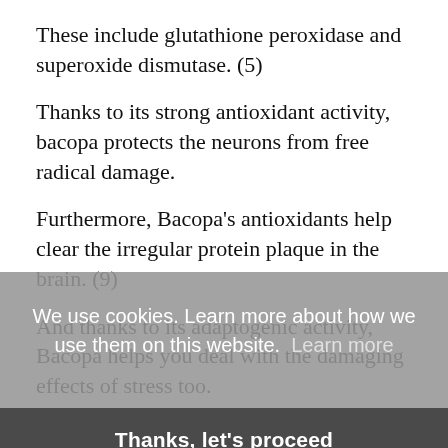These include glutathione peroxidase and superoxide dismutase. (5)
Thanks to its strong antioxidant activity, bacopa protects the neurons from free radical damage.
Furthermore, Bacopa's antioxidants help clear the irregular protein plaque in the brain. (9)
And thanks to its adaptogenic activity, Bacopa helps you deal with the damaging effects of stress too.
It's well known that stress can kill your brain cells…k
[Figure (screenshot): Cookie consent overlay with message 'We use cookies. Learn more about how we use them on this website. Learn more' and a dark button 'Thanks, let's proceed']
cerebral blood flow by up to 25%. (10)